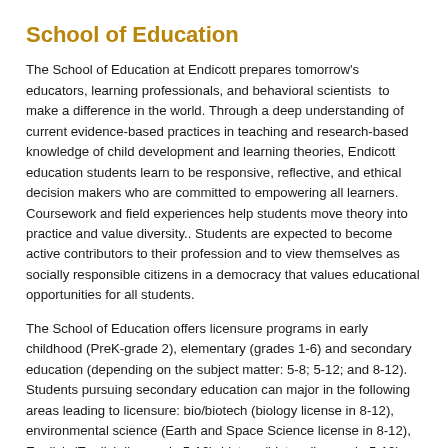School of Education
The School of Education at Endicott prepares tomorrow's educators, learning professionals, and behavioral scientists to make a difference in the world. Through a deep understanding of current evidence-based practices in teaching and research-based knowledge of child development and learning theories, Endicott education students learn to be responsive, reflective, and ethical decision makers who are committed to empowering all learners. Coursework and field experiences help students move theory into practice and value diversity.. Students are expected to become active contributors to their profession and to view themselves as socially responsible citizens in a democracy that values educational opportunities for all students.
The School of Education offers licensure programs in early childhood (PreK-grade 2), elementary (grades 1-6) and secondary education (depending on the subject matter: 5-8; 5-12; and 8-12). Students pursuing secondary education can major in the following areas leading to licensure: bio/biotech (biology license in 8-12), environmental science (Earth and Space Science license in 8-12), English (English license in 5-12), history (history license in 5-12), and math (math license in 5-8; 8-12). These programs are approved by the Massachusetts Department of Elementary and Secondary Education and lead to the state's initial teaching license